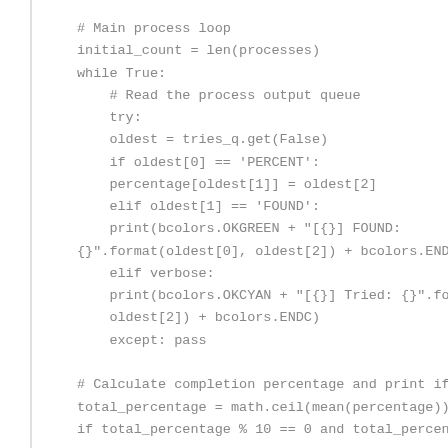# Main process loop
initial_count = len(processes)
while True:
    # Read the process output queue
    try:
    oldest = tries_q.get(False)
    if oldest[0] == 'PERCENT':
    percentage[oldest[1]] = oldest[2]
    elif oldest[1] == 'FOUND':
    print(bcolors.OKGREEN + "[{}] FOUND: {}" .format(oldest[0], oldest[2]) + bcolors.ENDC)
    elif verbose:
    print(bcolors.OKCYAN + "[{}] Tried: {}".format(oldest[0], oldest[2]) + bcolors.ENDC)
    except: pass

# Calculate completion percentage and print if /10
total_percentage = math.ceil(mean(percentage))
if total_percentage % 10 == 0 and total_percentage !=